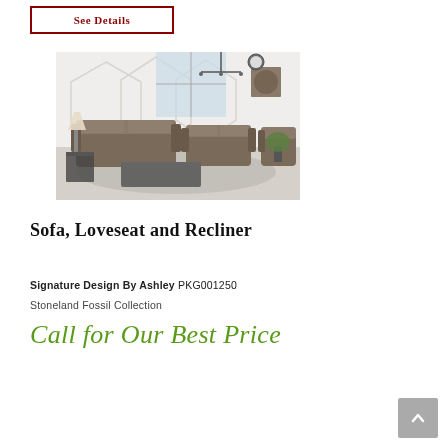See Details
[Figure (photo): Living room furniture set with sofa, loveseat and recliner in brown/fossil upholstery, displayed in a bright modern room with geometric wall decor, chandelier, and coffee table on a gray rug.]
Sofa, Loveseat and Recliner
Signature Design By Ashley PKG001250
Stoneland Fossil Collection
Call for Our Best Price